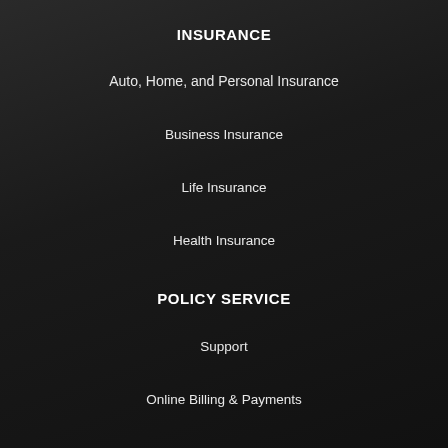INSURANCE
Auto, Home, and Personal Insurance
Business Insurance
Life Insurance
Health Insurance
POLICY SERVICE
Support
Online Billing & Payments